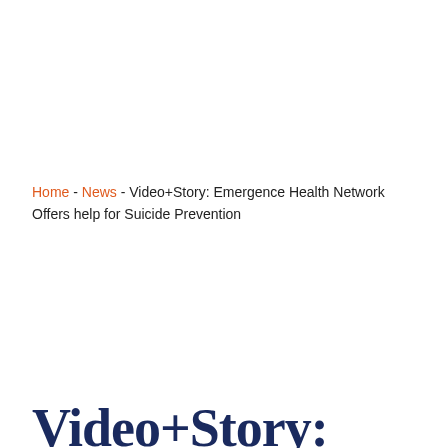Home - News - Video+Story: Emergence Health Network Offers help for Suicide Prevention
Video+Story: Emergence Health...